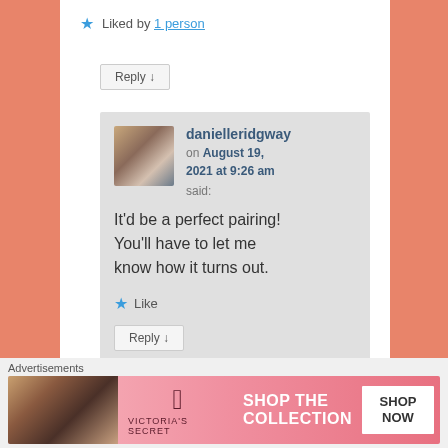★ Liked by 1 person
Reply ↓
danielleridgway on August 19, 2021 at 9:26 am said:
It'd be a perfect pairing! You'll have to let me know how it turns out.
★ Like
Reply ↓
Advertisements
[Figure (screenshot): Victoria's Secret advertisement banner with model, logo, 'SHOP THE COLLECTION' text and 'SHOP NOW' button]